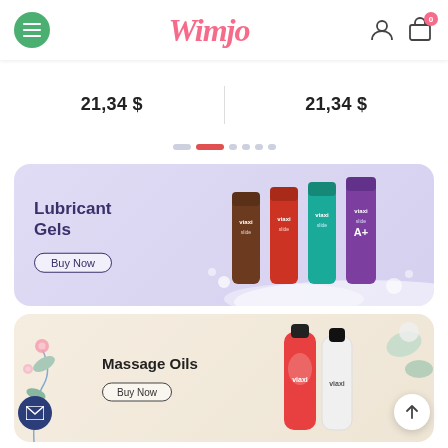Wimjo — navigation header with menu, logo, user and cart icons
21,34 $   21,34 $
[Figure (screenshot): Carousel pagination dots: grey dot, active red/pink dot, five grey dots]
[Figure (infographic): Lubricant Gels promotional banner with Viaxi brand tube products on lavender background. Text: Lubricant Gels, Buy Now button.]
[Figure (infographic): Massage Oils promotional banner with Viaxi brand bottle products on cream/beige background with floral decoration. Text: Massage Oils, Buy Now button.]